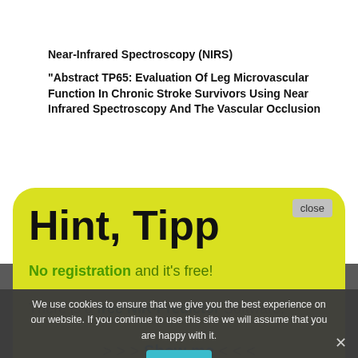Near-Infrared Spectroscopy (NIRS)
“Abstract TP65: Evaluation Of Leg Microvascular Function In Chronic Stroke Survivors Using Near Infrared Spectroscopy And The Vascular Occlusion
[Figure (screenshot): Yellow popup overlay with 'Hint, Tipp' heading, 'No registration and it’s free!' text, 'There is a free NIR-Predictor Software.' text, and '> > > Show me < < <' call-to-action link. Has a 'close' button in upper right corner.]
infrared spectroscopy" | LINK
“Rapid Determination of Pachymic Acid Content by Near-Infrared Spectroscopy” | LINK
“Novel automatic model construction method for the rapid characterization of petroleum properties
We use cookies to ensure that we give you the best experience on our website. If you continue to use this site we will assume that you are happy with it.